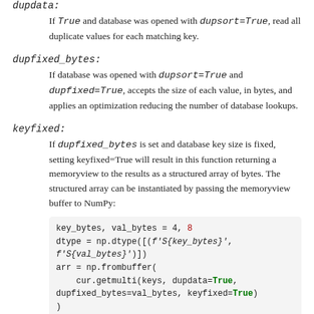dupdata:
If True and database was opened with dupsort=True, read all duplicate values for each matching key.
dupfixed_bytes:
If database was opened with dupsort=True and dupfixed=True, accepts the size of each value, in bytes, and applies an optimization reducing the number of database lookups.
keyfixed:
If dupfixed_bytes is set and database key size is fixed, setting keyfixed=True will result in this function returning a memoryview to the results as a structured array of bytes. The structured array can be instantiated by passing the memoryview buffer to NumPy:
[Figure (screenshot): Code block: key_bytes, val_bytes = 4, 8 / dtype = np.dtype([(f'S{key_bytes}', f'S{val_bytes}')] ) / arr = np.frombuffer( cur.getmulti(keys, dupdata=True, dupfixed_bytes=val_bytes, keyfixed=True) )]